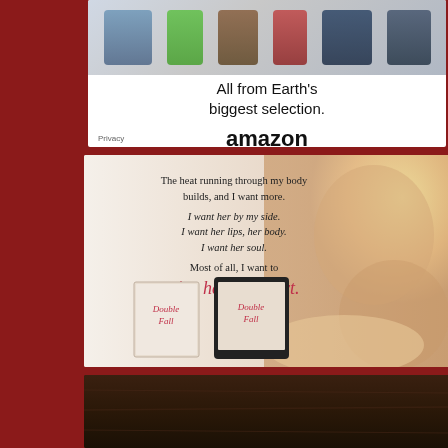[Figure (other): Amazon advertisement showing products (shoes, drinks, books, electronics, movies) with text 'All from Earth's biggest selection.' and Amazon logo with Privacy link]
[Figure (other): Book promotional image with romantic text overlay: 'The heat running through my body builds, and I want more. I want her by my side. I want her lips, her body. I want her soul. Most of all, I want to give her my heart.' with book covers shown at bottom]
[Figure (other): Book promotional image with dark wood background and text 'Sometimes the best part of the journey is falling, gliding, and never letting it go.']